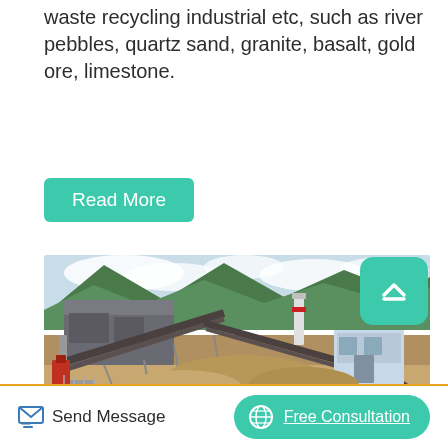waste recycling industrial etc, such as river pebbles, quartz sand, granite, basalt, gold ore, limestone.
Read More
[Figure (photo): Aerial view of an industrial stone crushing plant or quarry facility with conveyor belts, machinery, and a control building, set against a green mountain backdrop with clouds.]
Send Message
Free Consultation